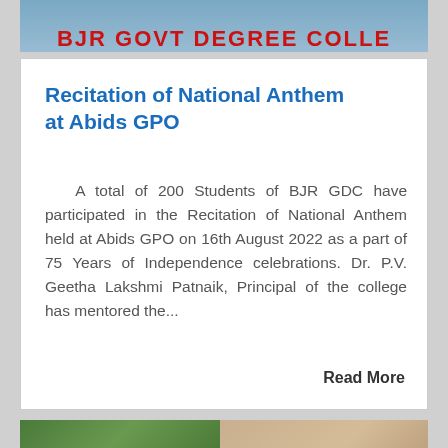[Figure (photo): Top image strip showing partial view of a banner reading 'BJR GOVT DEGREE COLLEGE']
Recitation of National Anthem at Abids GPO
A total of 200 Students of BJR GDC have participated in the Recitation of National Anthem held at Abids GPO on 16th August 2022 as a part of 75 Years of Independence celebrations. Dr. P.V. Geetha Lakshmi Patnaik, Principal of the college has mentored the...
Read More
[Figure (photo): Bottom image showing two photos: trees on the left and a building facade on the right]